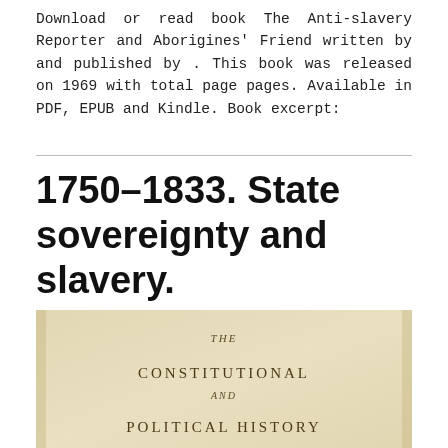Download or read book The Anti-slavery Reporter and Aborigines' Friend written by and published by . This book was released on 1969 with total page pages. Available in PDF, EPUB and Kindle. Book excerpt:
1750-1833. State sovereignty and slavery. 1889
[Figure (photo): Aged book title page with text 'THE CONSTITUTIONAL AND POLITICAL HISTORY' on a cream/beige background]